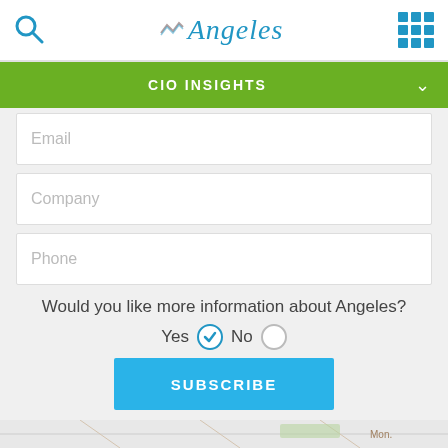Angeles — CIO INSIGHTS
Email
Company
Phone
Would you like more information about Angeles? Yes (checked) No
SUBSCRIBE
CONTACT US
[Figure (map): Partial map view at the bottom of the page]